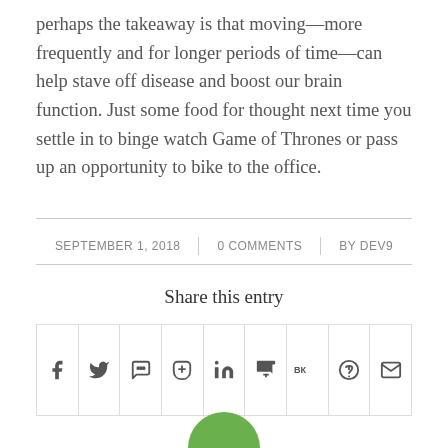perhaps the takeaway is that moving—more frequently and for longer periods of time—can help stave off disease and boost our brain function. Just some food for thought next time you settle in to binge watch Game of Thrones or pass up an opportunity to bike to the office.
SEPTEMBER 1, 2018  |  0 COMMENTS  |  BY DEV9
Share this entry
[Figure (other): Social share icons row: Facebook, Twitter, WhatsApp, Pinterest, LinkedIn, Tumblr, VK, Reddit, Email]
[Figure (other): Green circle/avatar partially visible at bottom of page]